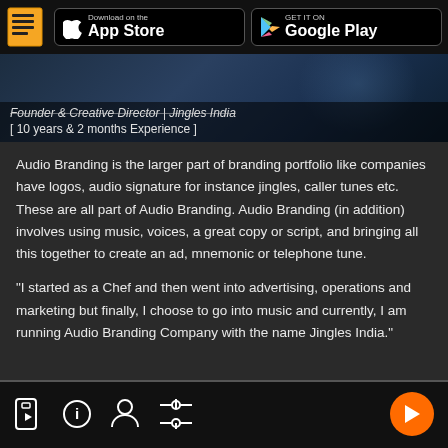[Figure (screenshot): Top navigation bar with document icon, App Store and Google Play download buttons on dark background]
[Figure (photo): Dark banner showing partially visible text: 'Founder & Creative Director | Jingles India' with strikethrough, and '[ 10 years & 2 months Experience ]' below]
Audio Branding is the larger part of branding portfolio like companies have logos, audio signature for instance jingles, caller tunes etc. These are all part of Audio Branding. Audio Branding (in addition) involves using music, voices, a great copy or script, and bringing all this together to create an ad, mnemonic or telephone tune.
"I started as a Chef and then went into advertising, operations and marketing but finally, I choose to go into music and currently, I am running Audio Branding Company with the name Jingles India."
[Figure (screenshot): Bottom navigation bar with four icons (video player, info, profile, settings/sliders) and an orange play button on the right]